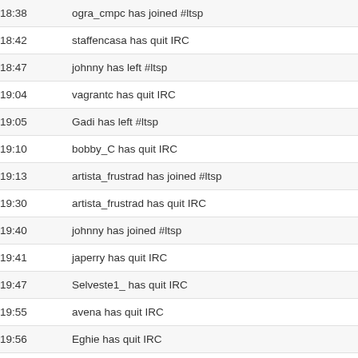| Time | Message |
| --- | --- |
| 18:38 | ogra_cmpc has joined #ltsp |
| 18:42 | staffencasa has quit IRC |
| 18:47 | johnny has left #ltsp |
| 19:04 | vagrantc has quit IRC |
| 19:05 | Gadi has left #ltsp |
| 19:10 | bobby_C has quit IRC |
| 19:13 | artista_frustrad has joined #ltsp |
| 19:30 | artista_frustrad has quit IRC |
| 19:40 | johnny has joined #ltsp |
| 19:41 | japerry has quit IRC |
| 19:47 | Selveste1_ has quit IRC |
| 19:55 | avena has quit IRC |
| 19:56 | Eghie has quit IRC |